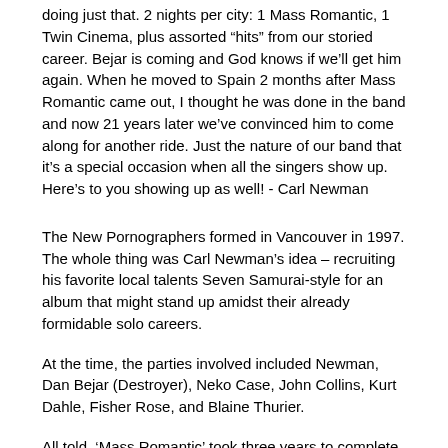doing just that. 2 nights per city: 1 Mass Romantic, 1 Twin Cinema, plus assorted “hits” from our storied career. Bejar is coming and God knows if we’ll get him again. When he moved to Spain 2 months after Mass Romantic came out, I thought he was done in the band and now 21 years later we’ve convinced him to come along for another ride. Just the nature of our band that it’s a special occasion when all the singers show up. Here’s to you showing up as well! - Carl Newman
The New Pornographers formed in Vancouver in 1997. The whole thing was Carl Newman’s idea – recruiting his favorite local talents Seven Samurai-style for an album that might stand up amidst their already formidable solo careers.
At the time, the parties involved included Newman, Dan Bejar (Destroyer), Neko Case, John Collins, Kurt Dahle, Fisher Rose, and Blaine Thurier.
All told, ‘Mass Romantic’ took three years to complete and